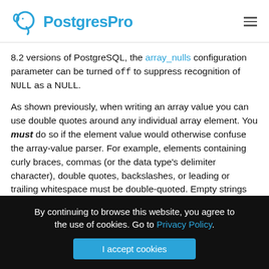PostGgresPro [logo with hamburger menu]
8.2 versions of PostgreSQL, the array_nulls configuration parameter can be turned off to suppress recognition of NULL as a NULL.
As shown previously, when writing an array value you can use double quotes around any individual array element. You must do so if the element value would otherwise confuse the array-value parser. For example, elements containing curly braces, commas (or the data type's delimiter character), double quotes, backslashes, or leading or trailing whitespace must be double-quoted. Empty strings
By continuing to browse this website, you agree to the use of cookies. Go to Privacy Policy.
I accept cookies